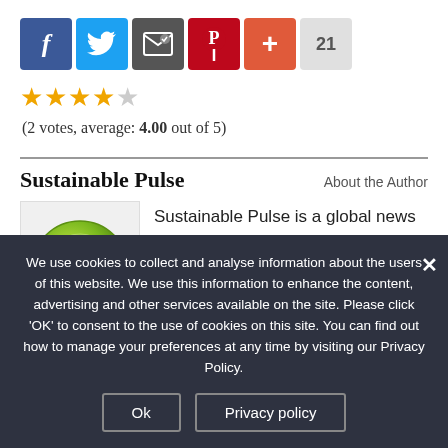[Figure (infographic): Row of social sharing buttons: Facebook (blue), Twitter (light blue), Email (dark grey), Pinterest (red), Plus/share (orange-red), and a count badge showing 21]
[Figure (infographic): Star rating: 4 filled gold stars and 1 empty star]
(2 votes, average: 4.00 out of 5)
Sustainable Pulse
About the Author
[Figure (logo): Sustainable Pulse logo: green circular badge with 'sp' letters in white on dark background]
Sustainable Pulse is a global news outlet covering sustainable agriculture, GMOs and pesticides.
We use cookies to collect and analyse information about the users of this website. We use this information to enhance the content, advertising and other services available on the site. Please click 'OK' to consent to the use of cookies on this site. You can find out how to manage your preferences at any time by visiting our Privacy Policy.